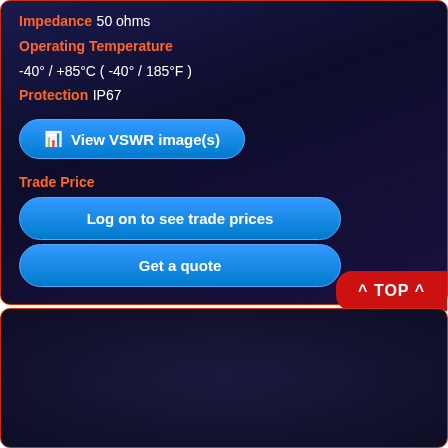Impedance 50 ohms
Operating Temperature
-40° / +85°C ( -40° / 185°F )
Protection IP67
📊 View VSWR image(s)
Trade Price
Log on to see trade prices
Get a quote
^ TOP ^
[Figure (photo): White antenna mounted on a bracket against a blue sky background]